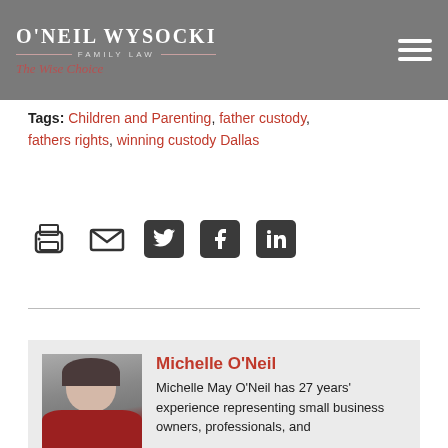O'Neil Wysocki Family Law — The Wise Choice
Tags: Children and Parenting, father custody, fathers rights, winning custody Dallas
[Figure (other): Social sharing icons: print, email, Twitter, Facebook, LinkedIn]
[Figure (photo): Portrait photo of Michelle O'Neil, a woman in a red jacket]
Michelle O'Neil
Michelle May O'Neil has 27 years' experience representing small business owners, professionals, and individuals in litigation related to family law matters such as divorce, child custody, and